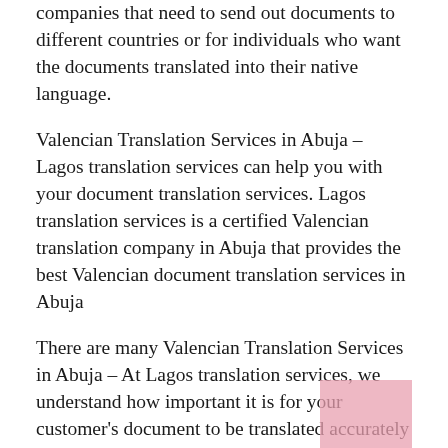companies that need to send out documents to different countries or for individuals who want the documents translated into their native language.
Valencian Translation Services in Abuja – Lagos translation services can help you with your document translation services. Lagos translation services is a certified Valencian translation company in Abuja that provides the best Valencian document translation services in Abuja
There are many Valencian Translation Services in Abuja – At Lagos translation services, we understand how important it is for your customer's document to be translated accurately and on time! We provide you with quality Valencian document translation services at affordable rates so you don't have to worry about anything!
The rise in demand for Valencian translation services in Abuja has been a result of the language's increased popularity. This is partly because of improved education opportunities and